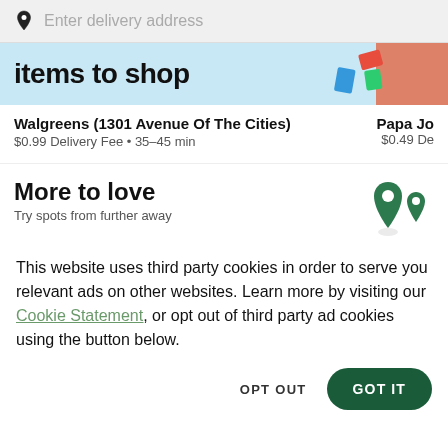Enter delivery address
[Figure (screenshot): Banner showing 'items to shop' text on light blue background with shopping item illustrations and food image on right edge]
Walgreens (1301 Avenue Of The Cities)
$0.99 Delivery Fee • 35-45 min
Papa Jo
$0.49 De
More to love
Try spots from further away
This website uses third party cookies in order to serve you relevant ads on other websites. Learn more by visiting our Cookie Statement, or opt out of third party ad cookies using the button below.
OPT OUT
GOT IT